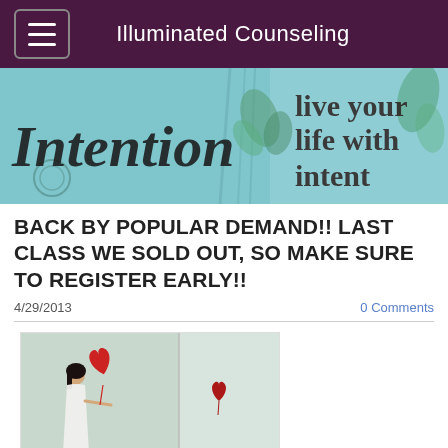Illuminated Counseling
[Figure (photo): Banner image with text 'Intention' on the left and 'live your life with intent' on the right, teal/cyan background with decorative elements]
BACK BY POPULAR DEMAND!! LAST CLASS WE SOLD OUT, SO MAKE SURE TO REGISTER EARLY!!
4/29/2013
0 Comments
[Figure (photo): Photo collage of a woman in a white dress releasing a red heart-shaped balloon, with a second smaller heart balloon visible to the right]